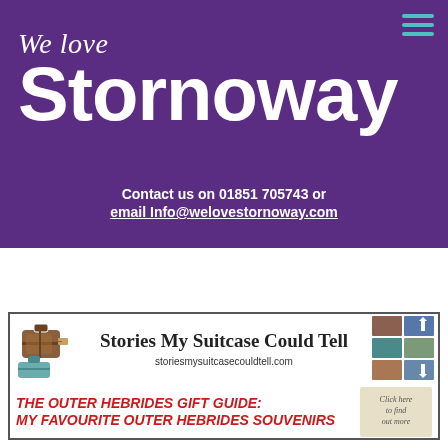We love Stornoway
Contact us on 01851 705743 or email Info@welovestornoway.com
[Figure (infographic): Advertisement banner for 'Stories My Suitcase Could Tell' blog with travel luggage imagery, title text, URL storiesmysuitcasecouldtell.com, and red text reading 'THE OUTER HEBRIDES GIFT GUIDE: MY FAVOURITE OUTER HEBRIDES SOUVENIRS' with a click-here button.]